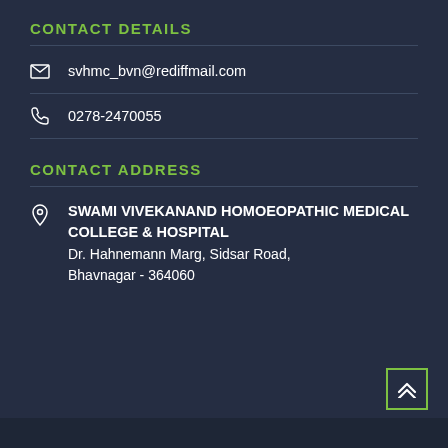CONTACT DETAILS
svhmc_bvn@rediffmail.com
0278-2470055
CONTACT ADDRESS
SWAMI VIVEKANAND HOMOEOPATHIC MEDICAL COLLEGE & HOSPITAL
Dr. Hahnemann Marg, Sidsar Road,
Bhavnagar - 364060